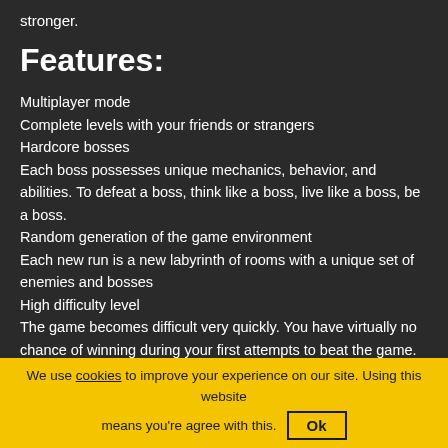stronger.
Features:
Multiplayer mode
Complete levels with your friends or strangers
Hardcore bosses
Each boss possesses unique mechanics, behavior, and abilities. To defeat a boss, think like a boss, live like a boss, be a boss.
Random generation of the game environment
Each new run is a new labyrinth of rooms with a unique set of enemies and bosses
High difficulty level
The game becomes difficult very quickly. You have virtually no chance of winning during your first attempts to beat the game.
Die to win
Your character is mortal, but each death does not go in
We use cookies to improve your experience on our site. Using this website means you're agree with this. Ok